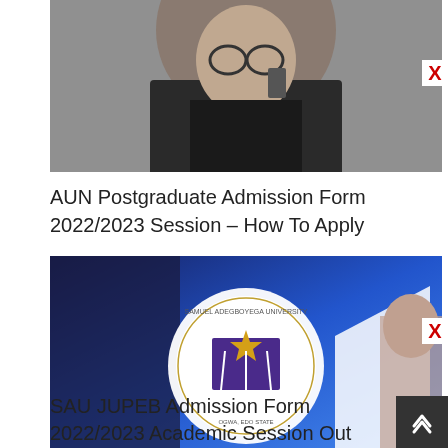[Figure (photo): A young woman wearing glasses talking on a phone, partial view cropped at top]
AUN Postgraduate Admission Form 2022/2023 Session – How To Apply
[Figure (photo): Samuel Adegboyega University logo on a blue banner background with a woman partially visible on the right]
SAU JUPEB Admission Form 2022/2023 Academic Session Out